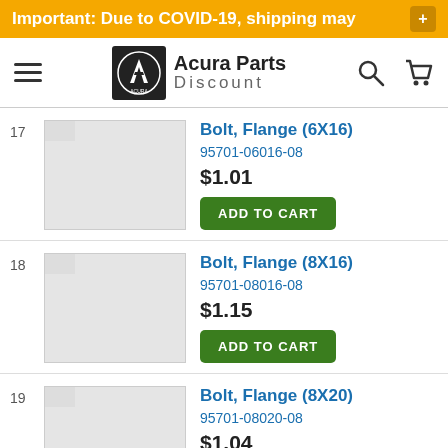Important: Due to COVID-19, shipping may +
[Figure (logo): Acura Parts Discount navigation bar with hamburger menu, Acura logo, search and cart icons]
17
Bolt, Flange (6X16)
95701-06016-08
$1.01
ADD TO CART
18
Bolt, Flange (8X16)
95701-08016-08
$1.15
ADD TO CART
19
Bolt, Flange (8X20)
95701-08020-08
$1.04